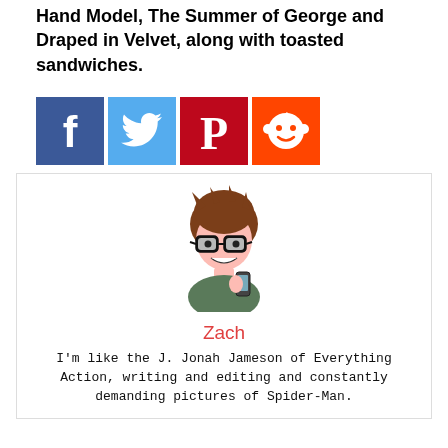Hand Model, The Summer of George and Draped in Velvet, along with toasted sandwiches.
[Figure (infographic): Social media share buttons: Facebook (blue), Twitter (light blue), Pinterest (dark red), Reddit (red)]
[Figure (illustration): South Park style cartoon avatar of a young man with brown hair and glasses holding a phone]
Zach
I'm like the J. Jonah Jameson of Everything Action, writing and editing and constantly demanding pictures of Spider-Man.